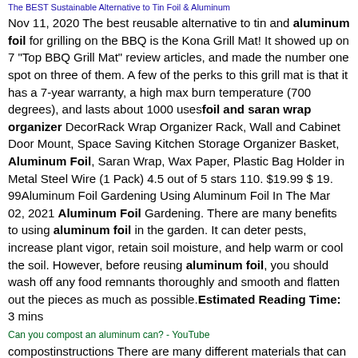The BEST Sustainable Alternative to Tin Foil & Aluminum
Nov 11, 2020 The best reusable alternative to tin and aluminum foil for grilling on the BBQ is the Kona Grill Mat! It showed up on 7 "Top BBQ Grill Mat" review articles, and made the number one spot on three of them. A few of the perks to this grill mat is that it has a 7-year warranty, a high max burn temperature (700 degrees), and lasts about 1000 usesfoil and saran wrap organizer DecorRack Wrap Organizer Rack, Wall and Cabinet Door Mount, Space Saving Kitchen Storage Organizer Basket, Aluminum Foil, Saran Wrap, Wax Paper, Plastic Bag Holder in Metal Steel Wire (1 Pack) 4.5 out of 5 stars 110. $19.99 $ 19. 99Aluminum Foil Gardening Using Aluminum Foil In The Mar 02, 2021 Aluminum Foil Gardening. There are many benefits to using aluminum foil in the garden. It can deter pests, increase plant vigor, retain soil moisture, and help warm or cool the soil. However, before reusing aluminum foil, you should wash off any food remnants thoroughly and smooth and flatten out the pieces as much as possible.Estimated Reading Time: 3 mins
Can you compost an aluminum can? - YouTube
compostinstructions There are many different materials that can be composted, with many outstanding benefits. In this segment, we address the conc.Can you take food wrapped in aluminum foil on a plane? - Quora Sure. Last year, one evening, I made 2 loaves of banana bread and then was called, by work and asked to catch an early morning flight out of the country. I live alone and didn't